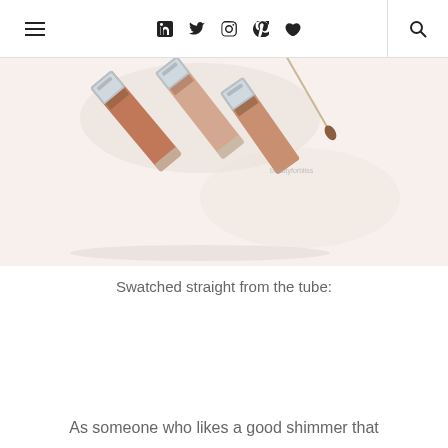≡  f  𝕥  ◎  ℗  ♥  🔍
[Figure (photo): Three lip gloss tubes with silver metallic caps arranged diagonally on a white background, with an open applicator wand. Products appear to be in nude and bronze shades.]
Swatched straight from the tube:
As someone who likes a good shimmer that